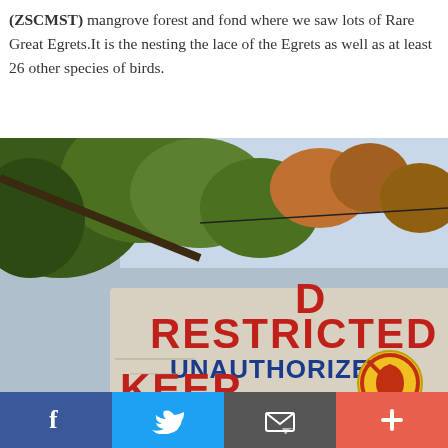(ZSCMST) mangrove forest and fond where we saw lots of Rare Great Egrets.It is the nesting the lace of the Egrets as well as at least 26 other species of birds.
[Figure (photo): Photo of a restricted area sign reading 'RESTRICTED UNAUTHORIZED KEEP [no entry symbol] WATERSHED RE...' with trees and sky in the background.]
Social sharing bar with Facebook, Twitter, Email, and Plus buttons